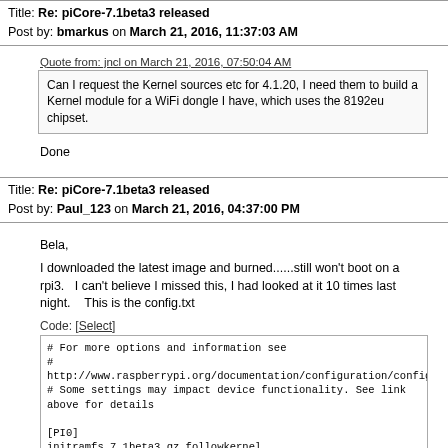Title: Re: piCore-7.1beta3 released
Post by: bmarkus on March 21, 2016, 11:37:03 AM
Quote from: jncl on March 21, 2016, 07:50:04 AM
Can I request the Kernel sources etc for 4.1.20, I need them to build a Kernel module for a WiFi dongle I have, which uses the 8192eu chipset.
Done
Title: Re: piCore-7.1beta3 released
Post by: Paul_123 on March 21, 2016, 04:37:00 PM
Bela,

I downloaded the latest image and burned......still won't boot on a rpi3.   I can't believe I missed this, I had looked at it 10 times last night.    This is the config.txt
Code: [Select]
# For more options and information see
#
http://www.raspberrypi.org/documentation/configuration/config-txt.md
# Some settings may impact device functionality. See link above for details

[PI0]
initramfs 7.1beta3.gz followkernel